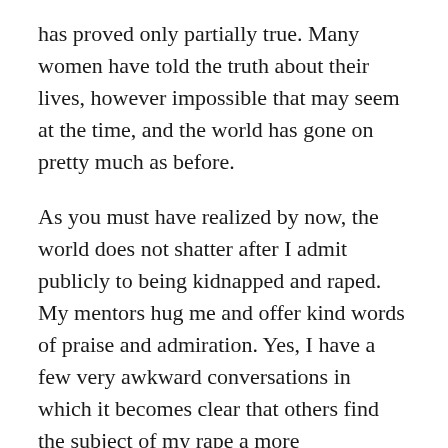has proved only partially true. Many women have told the truth about their lives, however impossible that may seem at the time, and the world has gone on pretty much as before.
As you must have realized by now, the world does not shatter after I admit publicly to being kidnapped and raped. My mentors hug me and offer kind words of praise and admiration. Yes, I have a few very awkward conversations in which it becomes clear that others find the subject of my rape a more uncomfortable topic than I do. I now realize this has little, if anything, to do with me and have stopped considering myself responsible for other people's feelings about that. And though I felt compelled to protect my family all these years from the painful story I carried, my mother and I had the most